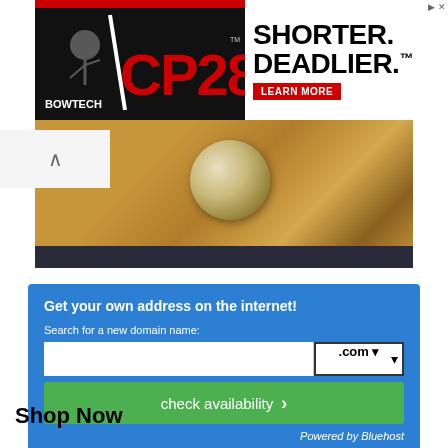[Figure (photo): Bowtech CP28 compound bow advertisement banner with black background, red and white CP28 logo, archer silhouette, and text 'SHORTER. DEADLIER. LEARN MORE' on white right panel]
[Figure (photo): Close-up photo of tan brown leather with a yellowish ball/object and dark textured surface]
Get your own address on the internet!
Search for a new domain name:
check availability
Powered by Bluehost
Shop Now